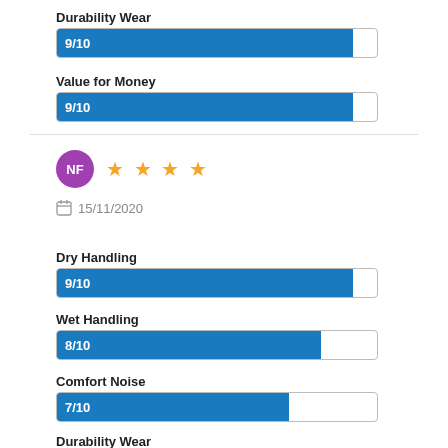Durability Wear
[Figure (bar-chart): Durability Wear]
Value for Money
[Figure (bar-chart): Value for Money]
NF  ★★★★  15/11/2020
Dry Handling
[Figure (bar-chart): Dry Handling]
Wet Handling
[Figure (bar-chart): Wet Handling]
Comfort Noise
[Figure (bar-chart): Comfort Noise]
Durability Wear
[Figure (bar-chart): Durability Wear]